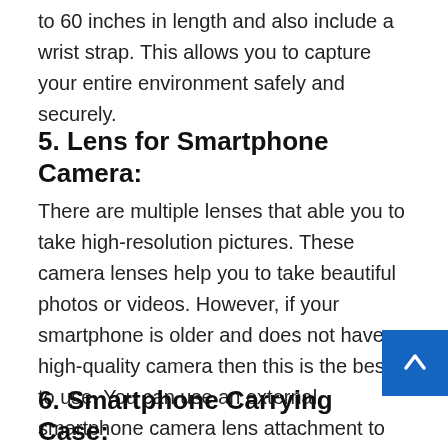to 60 inches in length and also include a wrist strap. This allows you to capture your entire environment safely and securely.
5. Lens for Smartphone Camera:
There are multiple lenses that able you to take high-resolution pictures. These camera lenses help you to take beautiful photos or videos. However, if your smartphone is older and does not have a high-quality camera then this is the best to use. You can use an external smartphone camera lens attachment to improve the quality of your images or videos.
6. Smartphone Carrying Case: